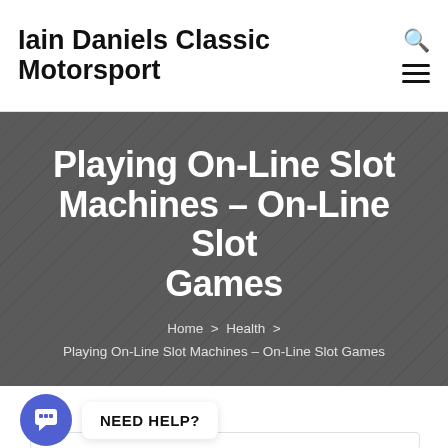Iain Daniels Classic Motorsport
Playing On-Line Slot Machines – On-Line Slot Games
Home > Health > Playing On-Line Slot Machines – On-Line Slot Games
NEED HELP?